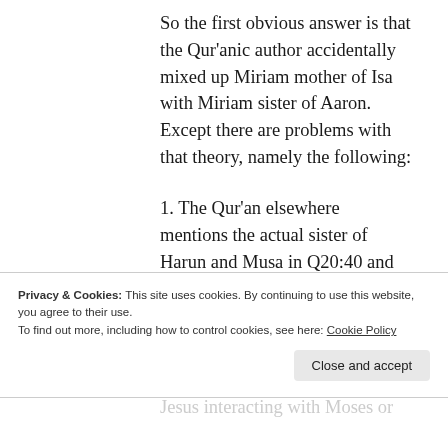So the first obvious answer is that the Qur'anic author accidentally mixed up Miriam mother of Isa with Miriam sister of Aaron. Except there are problems with that theory, namely the following:
1. The Qur'an elsewhere mentions the actual sister of Harun and Musa in Q20:40 and Q28:11-13, but leaves her unnamed. If the Qur'anic author thought they were the same figure, what we would
Privacy & Cookies: This site uses cookies. By continuing to use this website, you agree to their use.
To find out more, including how to control cookies, see here: Cookie Policy
Jesus interacting with Moses or